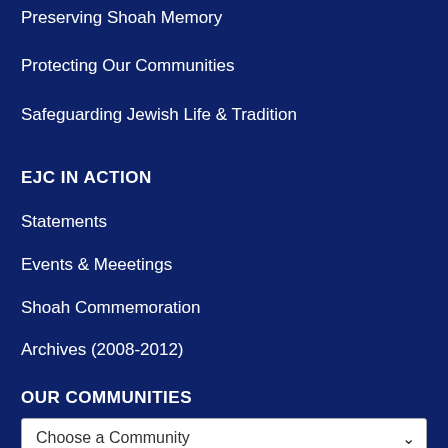Preserving Shoah Memory
Protecting Our Communities
Safeguarding Jewish Life & Tradition
EJC IN ACTION
Statements
Events & Meeetings
Shoah Commemoration
Archives (2008-2012)
OUR COMMUNITIES
Choose a Community